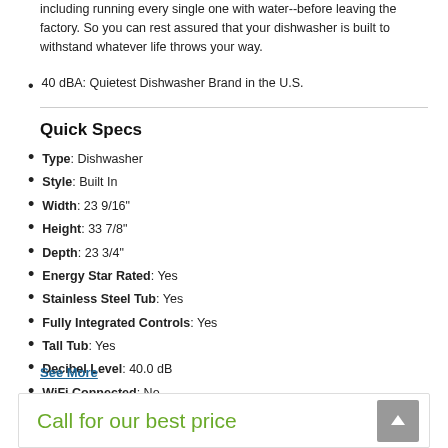including running every single one with water--before leaving the factory. So you can rest assured that your dishwasher is built to withstand whatever life throws your way.
40 dBA: Quietest Dishwasher Brand in the U.S.
Quick Specs
Type: Dishwasher
Style: Built In
Width: 23 9/16"
Height: 33 7/8"
Depth: 23 3/4"
Energy Star Rated: Yes
Stainless Steel Tub: Yes
Fully Integrated Controls: Yes
Tall Tub: Yes
Decibel Level: 40.0 dB
WiFi Connected: No
See More
Call for our best price